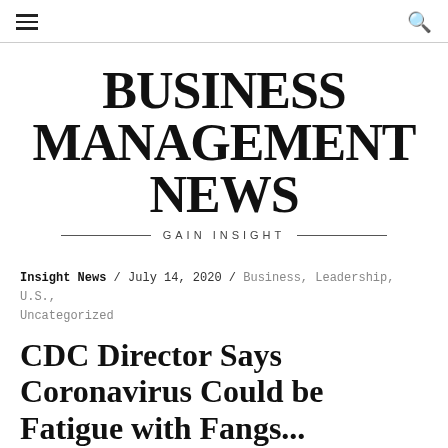≡  🔍
BUSINESS MANAGEMENT NEWS
GAIN INSIGHT
Insight News / July 14, 2020 / Business, Leadership, U.S., Uncategorized
CDC Director Says Coronavirus Could be Fatigue with Fangs...